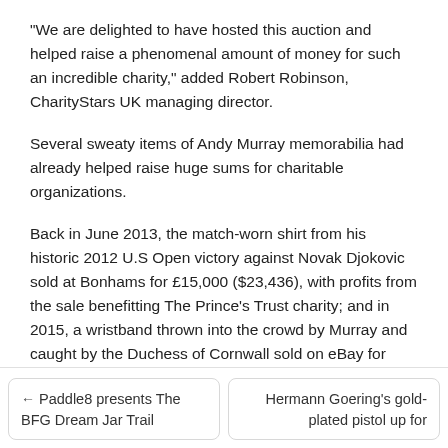"We are delighted to have hosted this auction and helped raise a phenomenal amount of money for such an incredible charity," added Robert Robinson, CharityStars UK managing director.
Several sweaty items of Andy Murray memorabilia had already helped raise huge sums for charitable organizations.
Back in June 2013, the match-worn shirt from his historic 2012 U.S Open victory against Novak Djokovic sold at Bonhams for £15,000 ($23,436), with profits from the sale benefitting The Prince's Trust charity; and in 2015, a wristband thrown into the crowd by Murray and caught by the Duchess of Cornwall sold on eBay for £2,100 ($3,265) to raise money for the Royal Veterinary College Animal Care Trust.
Posted in: Auction Results, Sports memorabilia
← Paddle8 presents The BFG Dream Jar Trail
Hermann Goering's gold-plated pistol up for